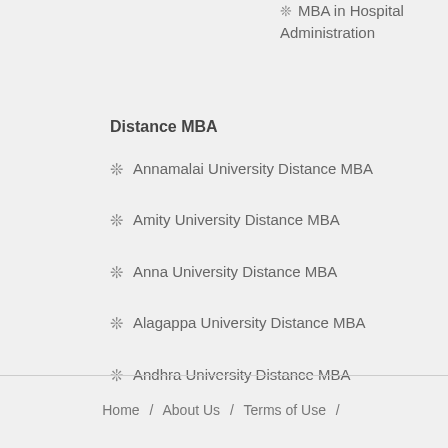MBA in Hospital Administration
Distance MBA
Annamalai University Distance MBA
Amity University Distance MBA
Anna University Distance MBA
Alagappa University Distance MBA
Andhra University Distance MBA
Home / About Us / Terms of Use /